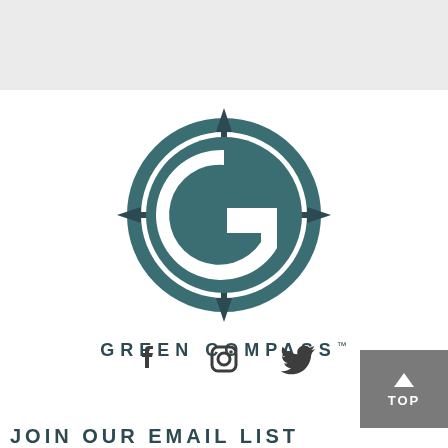[Figure (logo): Green Compass logo: teal compass with letter G in center, with cardinal direction arrows, and text GREEN COMPASS™ below]
[Figure (infographic): Social media icons: Facebook, Instagram, Twitter in dark gray]
JOIN OUR EMAIL LIST
TOP (back to top button)